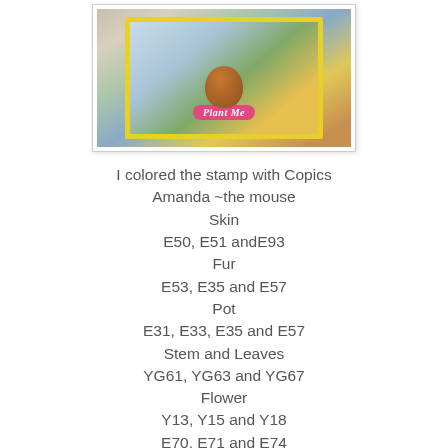[Figure (photo): A handmade craft card featuring a mouse character in a flower pot with 'Plant Me' banner, yellow border, colorful flowers, on a woven background]
I colored the stamp with Copics
Amanda ~the mouse
Skin
E50, E51 andE93
Fur
E53, E35 and E57
Pot
E31, E33, E35 and E57
Stem and Leaves
YG61, YG63 and YG67
Flower
Y13, Y15 and Y18
E70, E71 and E74